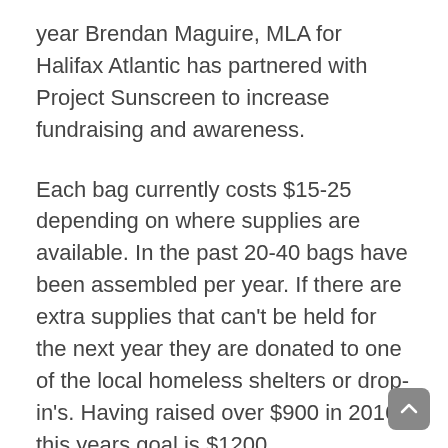year Brendan Maguire, MLA for Halifax Atlantic has partnered with Project Sunscreen to increase fundraising and awareness.
Each bag currently costs $15-25 depending on where supplies are available. In the past 20-40 bags have been assembled per year. If there are extra supplies that can't be held for the next year they are donated to one of the local homeless shelters or drop-in's. Having raised over $900 in 2016, this years goal is $1200.
Project Sunscreen always hands out packages on or near July 4th. Not for our southern neighbours, but for Catherine's mother Margaret, who was born on July 4th. Margaret had a heart for the downtown homeless community and was passionate about helping those most vulnerable.